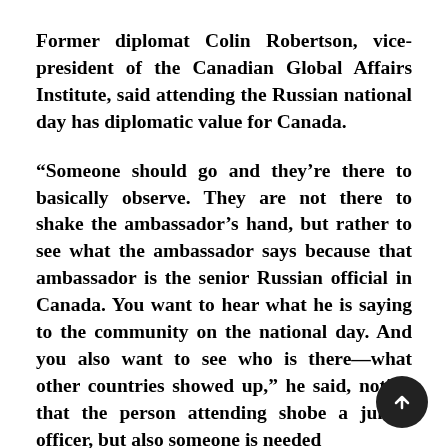Former diplomat Colin Robertson, vice-president of the Canadian Global Affairs Institute, said attending the Russian national day has diplomatic value for Canada.
“Someone should go and they’re there to basically observe. They are not there to shake the ambassador’s hand, but rather to see what the ambassador says because that ambassador is the senior Russian official in Canada. You want to hear what he is saying to the community on the national day. And you also want to see who is there—what other countries showed up,” he said, noting that the person attending sho be a junior officer, but also someone is needed